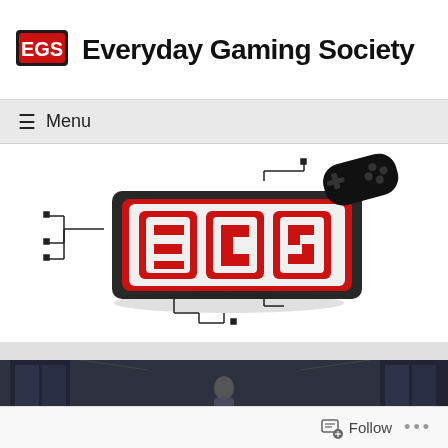Everyday Gaming Society
≡ Menu
[Figure (logo): EGS (Everyday Gaming Society) logo: stylized red and white block letters 'EGS' with circuit board design elements and a game controller silhouette]
[Figure (screenshot): Dark-toned video thumbnail showing a figure in a room with dim lighting]
Follow ...